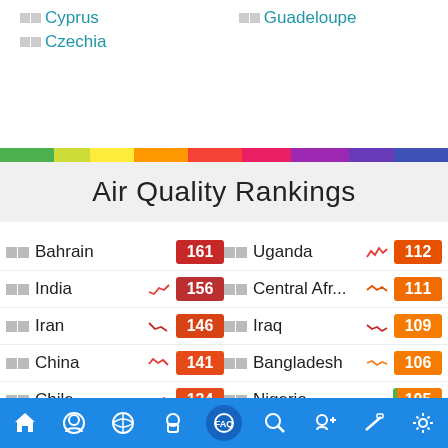Cyprus
Guadeloupe
Czechia
Air Quality Rankings
| Country | Score | Country | Score |
| --- | --- | --- | --- |
| Bahrain | 161 | Uganda | 112 |
| India | 156 | Central Afr... | 111 |
| Iran | 146 | Iraq | 109 |
| China | 141 | Bangladesh | 106 |
| Chile | 134 | Nigeria | 105 |
| South Africa | 132 | Burkina Faso | 103 |